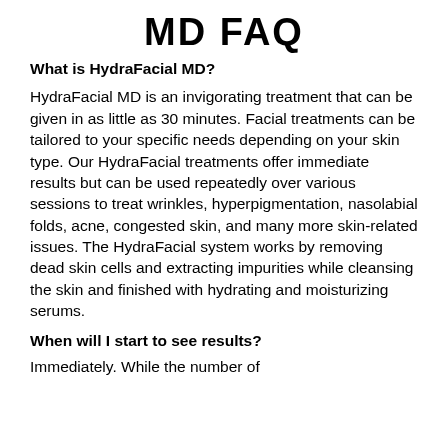MD FAQ
What is HydraFacial MD?
HydraFacial MD is an invigorating treatment that can be given in as little as 30 minutes. Facial treatments can be tailored to your specific needs depending on your skin type. Our HydraFacial treatments offer immediate results but can be used repeatedly over various sessions to treat wrinkles, hyperpigmentation, nasolabial folds, acne, congested skin, and many more skin-related issues. The HydraFacial system works by removing dead skin cells and extracting impurities while cleansing the skin and finished with hydrating and moisturizing serums.
When will I start to see results?
Immediately. While the number of